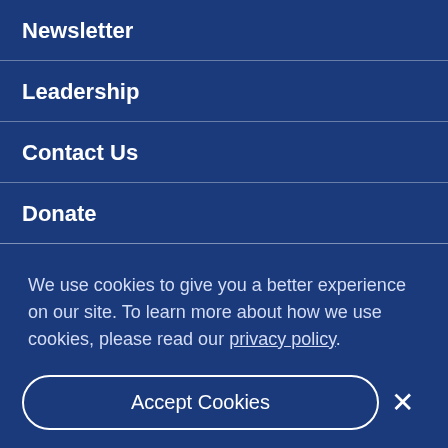Newsletter
Leadership
Contact Us
Donate
We use cookies to give you a better experience on our site. To learn more about how we use cookies, please read our privacy policy.
Accept Cookies